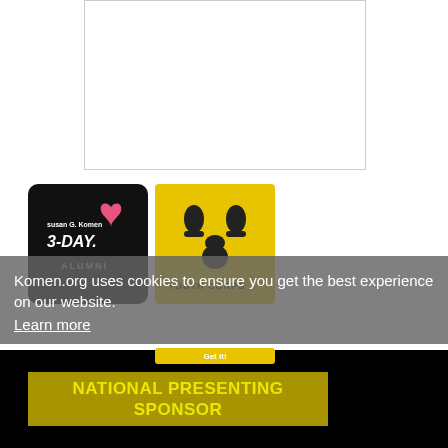[Figure (other): Empty white image placeholder box with thin gray border]
[Figure (logo): Susan G. Komen 3-Day Alumni logo on black rounded square background with pink ribbon]
[Figure (logo): Youth Corps logo on yellow background with cartoon character hands raised]
Komen.org uses cookies to ensure you get the best experience on our website.
Learn more
Get it!
NATIONAL PRESENTING SPONSOR